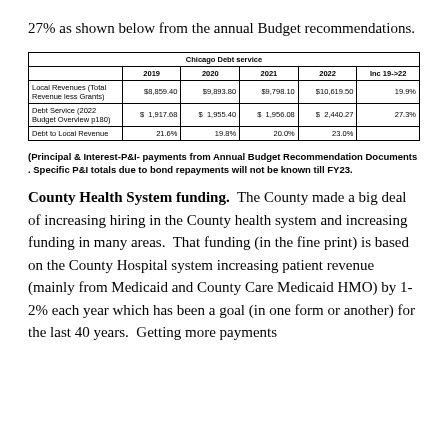27% as shown below from the annual Budget recommendations.
|  | 2019 | 2020 | 2021 | 2022 | Inc 19->22 |
| --- | --- | --- | --- | --- | --- |
| Local Revenues (Total Revenue less Grants) | $8,859.40 | $9,893.80 | $9,798.10 | $10,619.50 | 19.9% |
| Debt Service (2022 Budget Overview p180) | $ 1,917.68 | $ 1,955.40 | $ 1,956.08 | $ 2,440.27 | 27.3% |
| Debt to Local Revenue | 21.6% | 19.8% | 20.0% | 23.0% |  |
(Principal & Interest-P&I- payments from Annual Budget Recommendation Documents . Specific P&I totals due to bond repayments will not be known till FY23.
County Health System funding.  The County made a big deal of increasing hiring in the County health system and increasing funding in many areas.  That funding (in the fine print) is based on the County Hospital system increasing patient revenue (mainly from Medicaid and County Care Medicaid HMO) by 1-2% each year which has been a goal (in one form or another) for the last 40 years.  Getting more payments